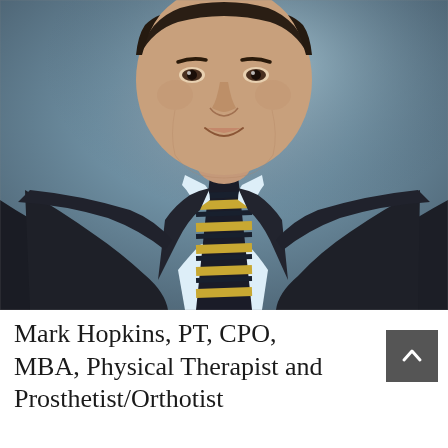[Figure (photo): Professional headshot portrait of a man in a dark navy suit and a gold and navy striped tie, wearing a light blue dress shirt, against a blurred blue-grey background. The photo is cropped from mid-chest upward showing his face and upper torso.]
Mark Hopkins, PT, CPO, MBA, Physical Therapist and Prosthetist/Orthotist